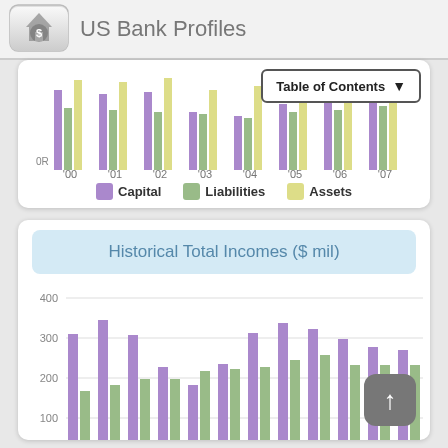US Bank Profiles
[Figure (grouped-bar-chart): Partial cropped bar chart showing Capital, Liabilities, and Assets data for years '00 through '07, with Table of Contents button overlay]
[Figure (bar-chart): Historical Total Incomes ($ mil)]